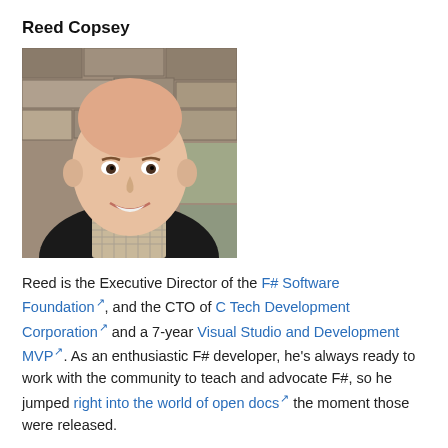Reed Copsey
[Figure (photo): Headshot photo of Reed Copsey, a bald smiling man in a checkered shirt against a stone wall background]
Reed is the Executive Director of the F# Software Foundation, and the CTO of C Tech Development Corporation and a 7-year Visual Studio and Development MVP. As an enthusiastic F# developer, he's always ready to work with the community to teach and advocate F#, so he jumped right into the world of open docs the moment those were released.